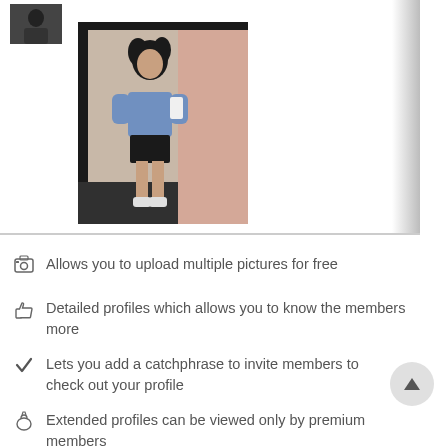[Figure (photo): A screenshot of a dating/social app profile showing a small thumbnail photo of a person in dark clothing at top left, and a larger main photo of a young woman in a blue shirt and black leather skirt taking a mirror selfie]
Allows you to upload multiple pictures for free
Detailed profiles which allows you to know the members more
Lets you add a catchphrase to invite members to check out your profile
Extended profiles can be viewed only by premium members